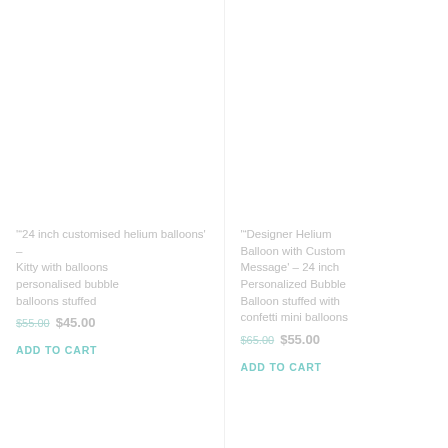'"24 inch customised helium balloons' – Kitty with balloons personalised bubble balloons stuffed
$55.00  $45.00
ADD TO CART
'"Designer Helium Balloon with Custom Message' – 24 inch Personalized Bubble Balloon stuffed with confetti mini balloons
$65.00  $55.00
ADD TO CART